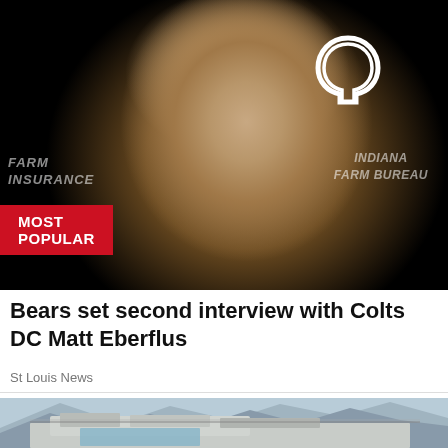[Figure (photo): Man speaking at press conference in front of Indianapolis Colts branding backdrop with Indiana Farm Bureau logo, wearing dark jacket]
MOST POPULAR
Bears set second interview with Colts DC Matt Eberflus
St Louis News
[Figure (photo): Cruise ship deck viewed from above with snow-capped mountains in the background]